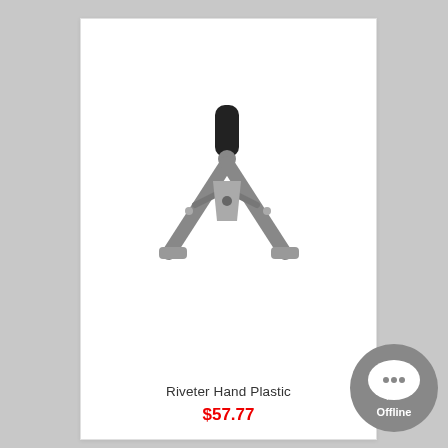[Figure (photo): Product photo of a Riveter Hand Plastic tool — a grey/black hand riveter with two spreading arms forming an A-shape, with a cylindrical black handle on top]
Riveter Hand Plastic
$57.77
[Figure (other): Grey circular chat widget with speech bubble and '...' icon, labeled 'Offline']